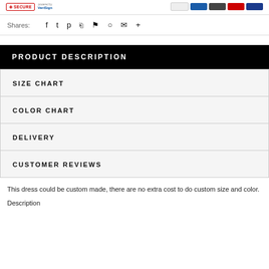[Figure (other): Top bar with secure badge, VeriSign logo, and payment method icons]
Shares:
Social share icons: Facebook, Twitter, Pinterest, Grid, Bookmark, Heart, Mail, Plus
PRODUCT DESCRIPTION
SIZE CHART
COLOR CHART
DELIVERY
CUSTOMER REVIEWS
This dress could be custom made, there are no extra cost to do custom size and color.
Description